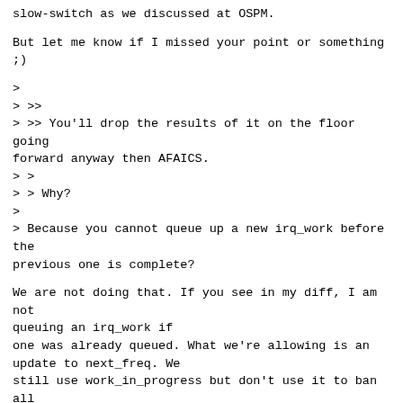slow-switch as we discussed at OSPM.
But let me know if I missed your point or something ;)
>
> >>
> >> You'll drop the results of it on the floor going forward anyway then AFAICS.
> >
> > Why?
>
> Because you cannot queue up a new irq_work before the previous one is complete?
We are not doing that. If you see in my diff, I am not queuing an irq_work if
one was already queued. What we're allowing is an update to next_freq. We
still use work_in_progress but don't use it to ban all incoming update
requests as done previously. Instead we use work_in_progress to make sure
that we dont unnecessarily increase the irq pressure and have excessive wake
ups (as Juri suggested).
I can clean it up and post it as a patch next week after some testing incase
that's less confusing.
This week I'm actually on vacation and the diff was